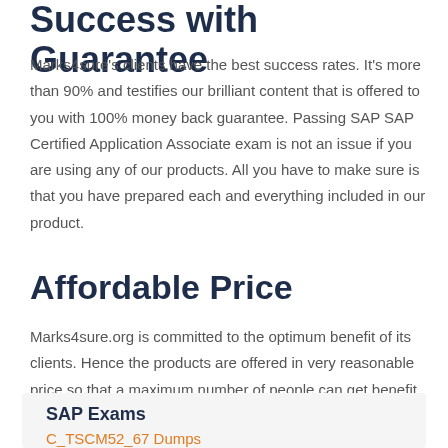Success with Guarantee
Marks4sure's clients have the best success rates. It's more than 90% and testifies our brilliant content that is offered to you with 100% money back guarantee. Passing SAP SAP Certified Application Associate exam is not an issue if you are using any of our products. All you have to make sure is that you have prepared each and everything included in our product.
Affordable Price
Marks4sure.org is committed to the optimum benefit of its clients. Hence the products are offered in very reasonable price so that a maximum number of people can get benefit of our products.
SAP Exams
C_TSCM52_67 Dumps